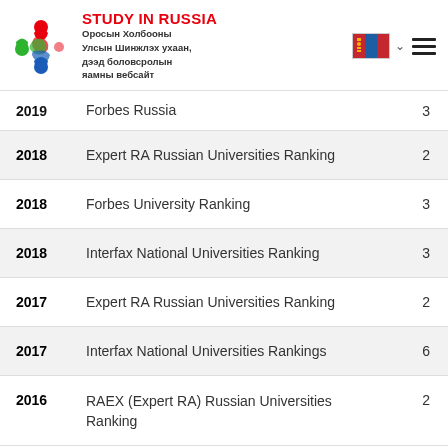STUDY IN RUSSIA — Оросын Холбооны Улсын Шинжлэх ухаан, дээд боловсролын яамны вебсайт
| Year | Ranking | Place |
| --- | --- | --- |
| 2019 | Forbes Russia | 3 |
| 2018 | Expert RA Russian Universities Ranking | 2 |
| 2018 | Forbes University Ranking | 3 |
| 2018 | Interfax National Universities Ranking | 3 |
| 2017 | Expert RA Russian Universities Ranking | 2 |
| 2017 | Interfax National Universities Rankings | 6 |
| 2016 | RAEX (Expert RA) Russian Universities Ranking | 2 |